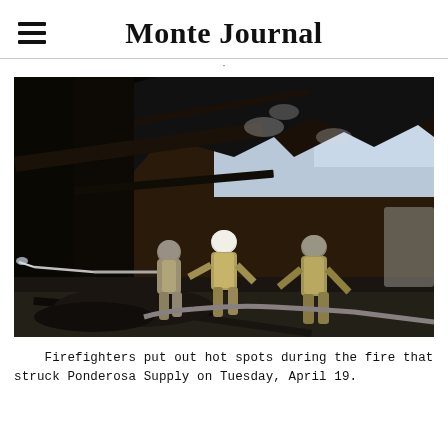Monte Journal
[Figure (photo): Firefighters in yellow gear putting out hot spots at a fire-damaged building, with charred collapsed roof structure and debris visible. Three firefighters are shown, one directing a hose stream at the wreckage.]
Firefighters put out hot spots during the fire that struck Ponderosa Supply on Tuesday, April 19.